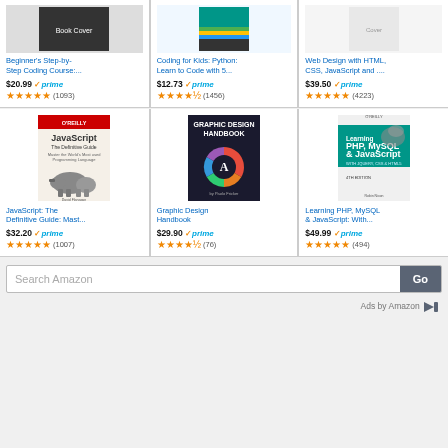[Figure (screenshot): Amazon product listing grid showing 6 books about coding and web development]
Beginner's Step-by-Step Coding Course:...
$20.99 prime (1093)
Coding for Kids: Python: Learn to Code with 5...
$12.73 prime (1456)
Web Design with HTML, CSS, JavaScript and ....
$39.50 prime (4223)
JavaScript: The Definitive Guide: Mast...
$32.20 prime (1007)
Graphic Design Handbook
$29.90 prime (76)
Learning PHP, MySQL & JavaScript: With...
$49.99 prime (494)
Search Amazon
Ads by Amazon